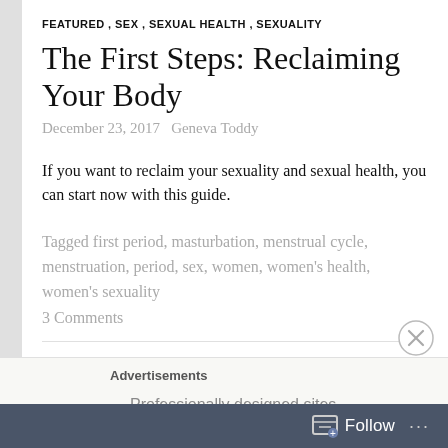FEATURED, SEX, SEXUAL HEALTH, SEXUALITY
The First Steps: Reclaiming Your Body
December 23, 2017   Geneva Toddy
If you want to reclaim your sexuality and sexual health, you can start now with this guide.
Tagged first period, masturbation, menstrual cycle, menstruation, period, sex, women, women's health, women's sexuality
3 Comments
Advertisements
Professionally designed sites